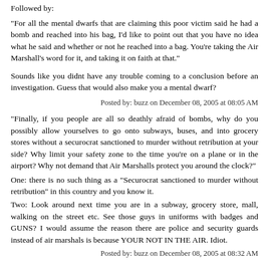Followed by:
"For all the mental dwarfs that are claiming this poor victim said he had a bomb and reached into his bag, I'd like to point out that you have no idea what he said and whether or not he reached into a bag. You're taking the Air Marshall's word for it, and taking it on faith at that."
Sounds like you didnt have any trouble coming to a conclusion before an investigation. Guess that would also make you a mental dwarf?
Posted by: buzz on December 08, 2005 at 08:05 AM
"Finally, if you people are all so deathly afraid of bombs, why do you possibly allow yourselves to go onto subways, buses, and into grocery stores without a securocrat sanctioned to murder without retribution at your side? Why limit your safety zone to the time you're on a plane or in the airport? Why not demand that Air Marshalls protect you around the clock?"
One: there is no such thing as a "Securocrat sanctioned to murder without retribution" in this country and you know it.
Two: Look around next time you are in a subway, grocery store, mall, walking on the street etc. See those guys in uniforms with badges and GUNS? I would assume the reason there are police and security guards instead of air marshals is because YOUR NOT IN THE AIR. Idiot.
Posted by: buzz on December 08, 2005 at 08:32 AM